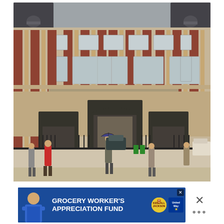[Figure (photo): Photograph of Place des Vosges in Paris, France. A grand historic French classical architecture building with red brick and cream stone facade, multiple arched windows, and a large central archway passage with iron gates. Several people are walking in the foreground plaza on a cloudy day. A car passes through the central arch.]
[Figure (other): Advertisement banner for 'Grocery Worker's Appreciation Fund' sponsored by Kendall-Jackson and United Way. Features a person in a blue apron on the left side. Blue background with bold white uppercase text. Has a close/dismiss button in the top right corner.]